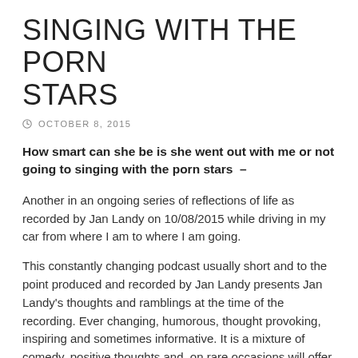SINGING WITH THE PORN STARS
OCTOBER 8, 2015
How smart can she be is she went out with me or not going to singing with the porn stars –
Another in an ongoing series of reflections of life as recorded by Jan Landy on 10/08/2015 while driving in my car from where I am to where I am going.
This constantly changing podcast usually short and to the point produced and recorded by Jan Landy presents Jan Landy's thoughts and ramblings at the time of the recording. Ever changing, humorous, thought provoking, inspiring and sometimes informative. It is a mixture of comedy, positive thoughts and, on rare occasions will offer information on where SoundBroker.com has been and where it is going. If you